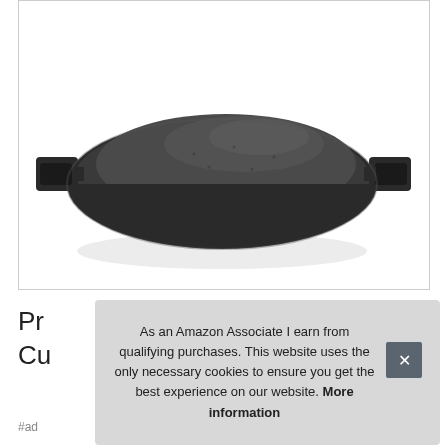[Figure (photo): A black cast iron pan/wok with two side handles, viewed from slightly above at an angle, showing the dark interior bowl shape. The pan sits on a white background inside a bordered product image box.]
Pr
Cu
As an Amazon Associate I earn from qualifying purchases. This website uses the only necessary cookies to ensure you get the best experience on our website. More information
#ad